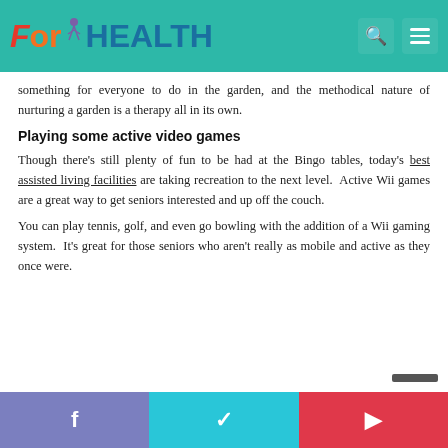ForHEALTH
something for everyone to do in the garden, and the methodical nature of nurturing a garden is a therapy all in its own.
Playing some active video games
Though there's still plenty of fun to be had at the Bingo tables, today's best assisted living facilities are taking recreation to the next level. Active Wii games are a great way to get seniors interested and up off the couch.
You can play tennis, golf, and even go bowling with the addition of a Wii gaming system. It's great for those seniors who aren't really as mobile and active as they once were.
f   t   p